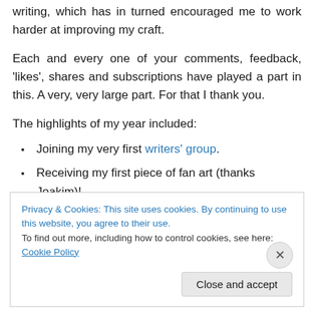writing, which has in turned encouraged me to work harder at improving my craft.
Each and every one of your comments, feedback, 'likes', shares and subscriptions have played a part in this. A very, very large part. For that I thank you.
The highlights of my year included:
Joining my very first writers' group.
Receiving my first piece of fan art (thanks Joakim)!
Participating in and winning my very first NaNoWriMo.
Privacy & Cookies: This site uses cookies. By continuing to use this website, you agree to their use.
To find out more, including how to control cookies, see here: Cookie Policy